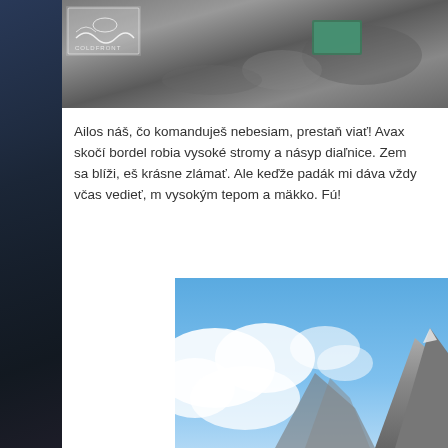[Figure (photo): Dark blue/grey toned vertical strip on the left side, appearing to be a night or dark sky image]
[Figure (photo): Top photograph showing rocky terrain with a book or tablet placed on stones, with a small logo (wave/fish design) in the upper left corner]
Ailos náš, čo komanduješ nebesiam, prestaň viať! Avax skočí bordel robia vysoké stromy a násyp diaľnice. Zem sa blíži, eš krásne zlámať. Ale keďže padák mi dáva vždy včas vedieť, m vysokým tepom a mäkko. Fú!
[Figure (photo): Bottom photograph showing mountain peaks with dramatic clouds and blue sky, alpine scenery]